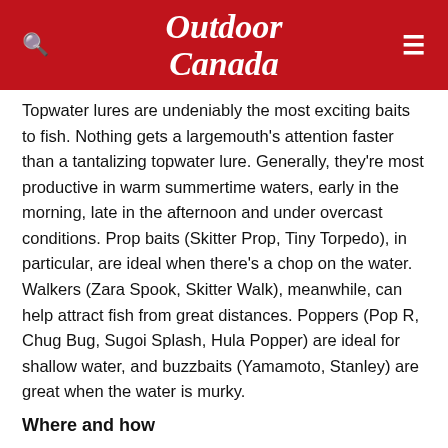Outdoor Canada
Topwater lures are undeniably the most exciting baits to fish. Nothing gets a largemouth's attention faster than a tantalizing topwater lure. Generally, they're most productive in warm summertime waters, early in the morning, late in the afternoon and under overcast conditions. Prop baits (Skitter Prop, Tiny Torpedo), in particular, are ideal when there's a chop on the water. Walkers (Zara Spook, Skitter Walk), meanwhile, can help attract fish from great distances. Poppers (Pop R, Chug Bug, Sugoi Splash, Hula Popper) are ideal for shallow water, and buzzbaits (Yamamoto, Stanley) are great when the water is murky.
Where and how
Cast a prop bait close to cover, such as a dock, boulder or fallen tree, or along a weedline, and let it rest. Then rip it two or three feet at a time, pausing after each twitch, and repeat.